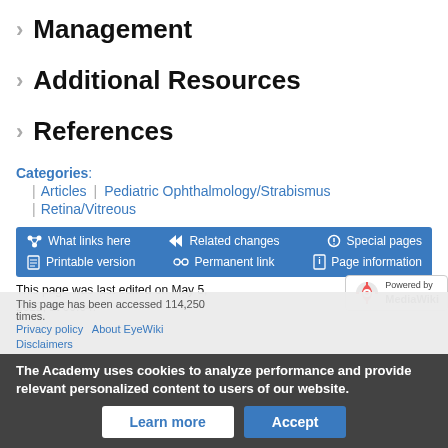> Management
> Additional Resources
> References
Categories: Articles | Pediatric Ophthalmology/Strabismus | Retina/Vitreous
What links here  Related changes  Special pages  Printable version  Permanent link  Page information
This page was last edited on May 5, 2022, at 09:04.
This page has been accessed 114,250 times.
Privacy policy   About EyeWiki
Disclaimers
The Academy uses cookies to analyze performance and provide relevant personalized content to users of our website.